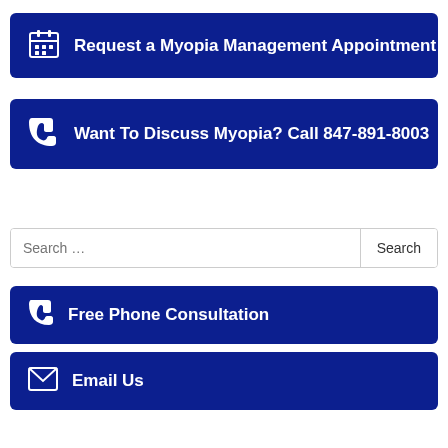[Figure (other): Dark blue button with calendar icon: Request a Myopia Management Appointment]
Request a Myopia Management Appointment
[Figure (other): Dark blue button with phone icon: Want To Discuss Myopia? Call 847-891-8003]
Want To Discuss Myopia? Call 847-891-8003
Search ...
[Figure (other): Dark blue button with phone icon: Free Phone Consultation]
Free Phone Consultation
[Figure (other): Dark blue button with email icon: Email Us]
Email Us